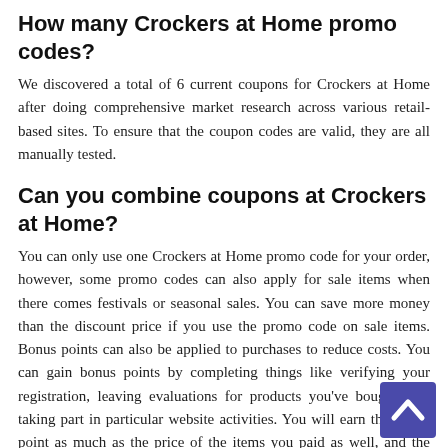How many Crockers at Home promo codes?
We discovered a total of 6 current coupons for Crockers at Home after doing comprehensive market research across various retail-based sites. To ensure that the coupon codes are valid, they are all manually tested.
Can you combine coupons at Crockers at Home?
You can only use one Crockers at Home promo code for your order, however, some promo codes can also apply for sale items when there comes festivals or seasonal sales. You can save more money than the discount price if you use the promo code on sale items. Bonus points can also be applied to purchases to reduce costs. You can gain bonus points by completing things like verifying your registration, leaving evaluations for products you've bought, and taking part in particular website activities. You will earn the bonus point as much as the price of the items you paid as well, and the points will be credited to